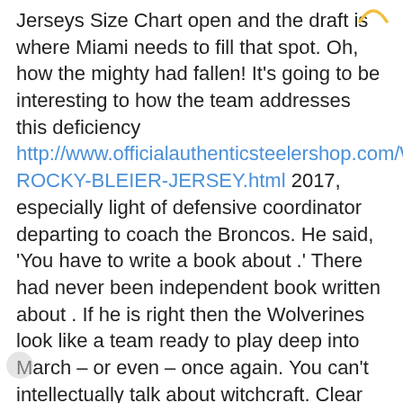Jerseys Size Chart open and the draft is where Miami needs to fill that spot. Oh, how the mighty had fallen! It's going to be interesting to how the team addresses this deficiency http://www.officialauthenticsteelershop.com/WOMENS-ROCKY-BLEIER-JERSEY.html 2017, especially light of defensive coordinator departing to coach the Broncos. He said, 'You have to write a book about .' There had never been independent book written about . If he is right then the Wolverines look like a team ready to play deep into March – or even – once again. You can't intellectually talk about witchcraft. Clear was John Tavares Youth jersey a name UDFA out of Texas A&M after last 's draft.
THE CANADIAN PRESS Denette MONTREAL – Chabot was named the best player at the world Cheap Jerseys For Sale hockey championship, but the accolades